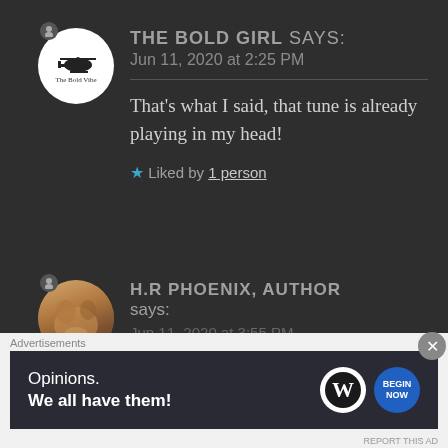[Figure (photo): Avatar for The Bold Girl with circular white background and helicopter logo with text 'The Bold Vibe']
THE BOLD GIRL says:
Jun 11, 2020 at 2:25 PM
That's what I said, that tune is already playing in my head!
★ Liked by 1 person
[Figure (photo): Avatar for H.R Phoenix, Author showing a close-up photo of a cat paw/fur]
H.R PHOENIX, AUTHOR says:
Jun 11, 2020 at 3:55 PM
Advertisements
Opinions.
We all have them!